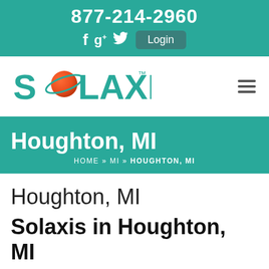877-214-2960
f g+ twitter Login
[Figure (logo): SOLAXIS logo with planet/orbit graphic in teal and orange, with trademark symbol]
Houghton, MI
HOME » MI » HOUGHTON, MI
Houghton, MI
Solaxis in Houghton, MI